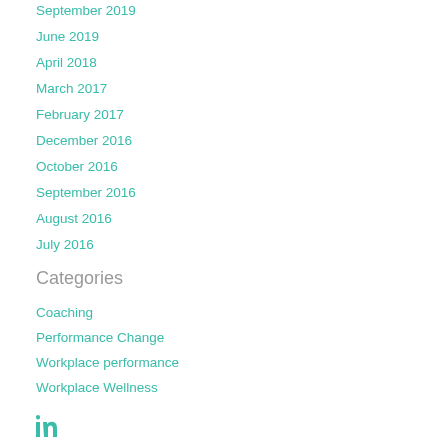September 2019
June 2019
April 2018
March 2017
February 2017
December 2016
October 2016
September 2016
August 2016
July 2016
Categories
Coaching
Performance Change
Workplace performance
Workplace Wellness
[Figure (logo): LinkedIn icon in teal color]